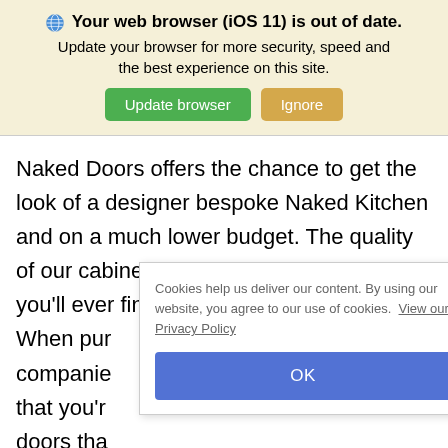🌐 Your web browser (iOS 11) is out of date. Update your browser for more security, speed and the best experience on this site. [Update browser] [Ignore]
Naked Doors offers the chance to get the look of a designer bespoke Naked Kitchen and on a much lower budget. The quality of our cabinet doors is unlike any other you'll ever find in the industry.
When pur companie that you'r doors tha years. Ho you're actually purchasing doors that are
Cookies help us deliver our content. By using our website, you agree to our use of cookies. View our Privacy Policy
OK